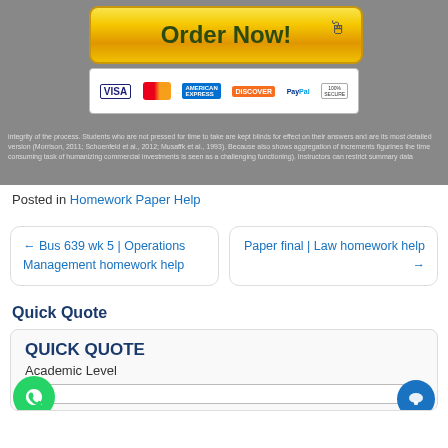[Figure (screenshot): Order Now button with payment icons (Visa, MasterCard, AmEx, Discover, PayPal, 100% Secure) over gray background with partial article text]
Posted in Homework Paper Help
← Bus 639 wk 5 | Operations Management homework help
Paper final | Law homework help →
Quick Quote
[Figure (screenshot): Quick Quote form with QUICK QUOTE heading, Academic Level label, WhatsApp button, and chat button]